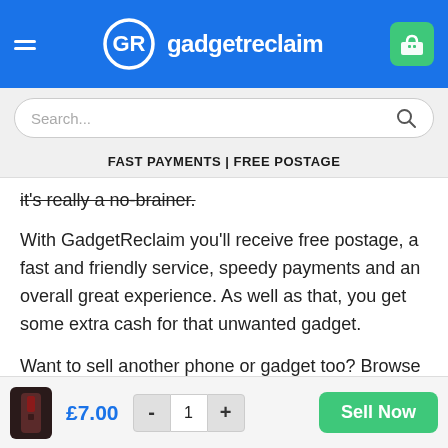GadgetReclaim — header with logo and shopping cart
Search...
FAST PAYMENTS | FREE POSTAGE
it's really a no-brainer.
With GadgetReclaim you'll receive free postage, a fast and friendly service, speedy payments and an overall great experience.  As well as that, you get some extra cash for that unwanted gadget.
Want to sell another phone or gadget too? Browse our catalogue here
£7.00  -  1  +  Sell Now